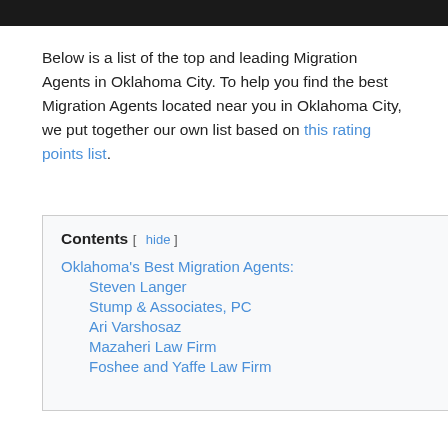[Figure (photo): Dark photo bar at the top of the page]
Below is a list of the top and leading Migration Agents in Oklahoma City. To help you find the best Migration Agents located near you in Oklahoma City, we put together our own list based on this rating points list.
| Oklahoma's Best Migration Agents: |
| Steven Langer |
| Stump & Associates, PC |
| Ari Varshosaz |
| Mazaheri Law Firm |
| Foshee and Yaffe Law Firm |